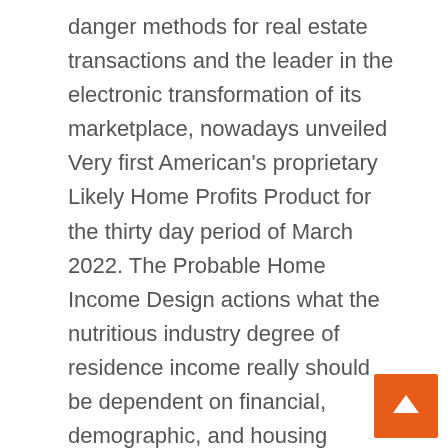danger methods for real estate transactions and the leader in the electronic transformation of its marketplace, nowadays unveiled Very first American's proprietary Likely Home Profits Product for the thirty day period of March 2022. The Probable Home Income Design actions what the nutritious industry degree of residence income really should be dependent on financial, demographic, and housing marketplace fundamentals.
March 2022 Opportunity Dwelling Sales
For the thirty day period of March, Very first American current its proprietary Probable Property Profits Design to show that:
Prospective current-property profits reduced to a 5.97 million seasonally altered annualized amount